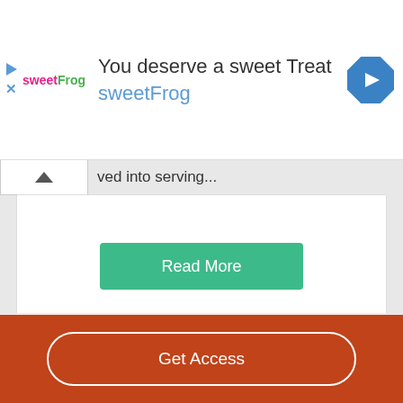[Figure (screenshot): sweetFrog advertisement banner with logo, text 'You deserve a sweet Treat' and 'sweetFrog', and a blue navigation icon]
ved into serving...
Read More
Decent Essays
Nel Noddings Research Paper
385 Words
2 Pages
The feminist philosopher Nel Noddings is among many other
Get Access